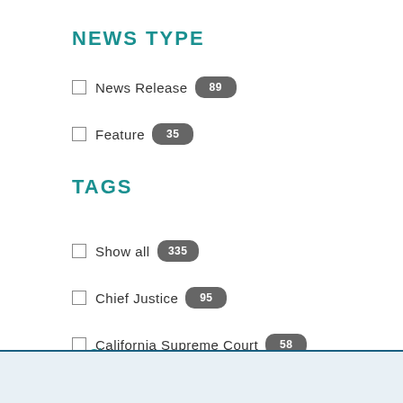NEWS TYPE
News Release 89
Feature 35
TAGS
Show all 335
Chief Justice 95
California Supreme Court 58
Show more